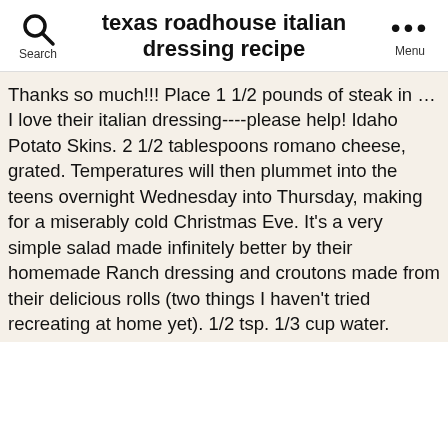texas roadhouse italian dressing recipe
Thanks so much!!! Place 1 1/2 pounds of steak in … I love their italian dressing----please help! Idaho Potato Skins. 2 1/2 tablespoons romano cheese, grated. Temperatures will then plummet into the teens overnight Wednesday into Thursday, making for a miserably cold Christmas Eve. It's a very simple salad made infinitely better by their homemade Ranch dressing and croutons made from their delicious rolls (two things I haven't tried recreating at home yet). 1/2 tsp. 1/3 cup water. Apple Cider Vinegar 3/4 cup. butter, honey, butter, milk, water, yeast, powdered sugar, sugar and 5 more. Incredible! They sell it in Omaha for 3.00. where could I find out the ingredients? Where did you find that? Search Foods Recipes Meals ... You may also add one of the many great recipes and food ideas submitted by our members. Is there a website I could look onto and find out? We're starting out this list with Texas Roadhouse rolls, aka one